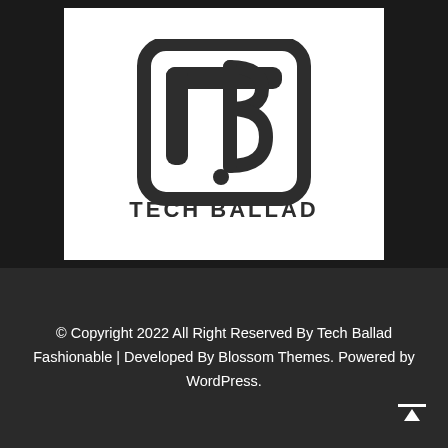[Figure (logo): Tech Ballad logo — stylized TB monogram in dark gray inside rounded square outline, with text 'TECH BALLAD' in bold below, all on white background]
© Copyright 2022 All Right Reserved By Tech Ballad Fashionable | Developed By Blossom Themes. Powered by WordPress.